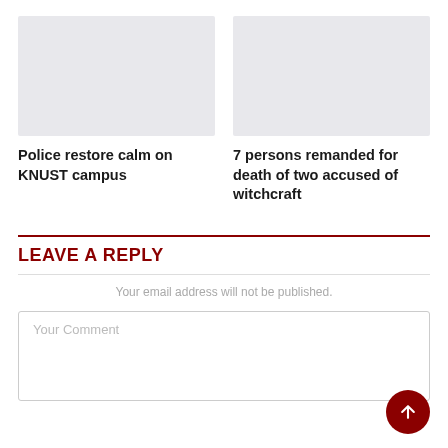[Figure (photo): Placeholder image for article: Police restore calm on KNUST campus]
[Figure (photo): Placeholder image for article: 7 persons remanded for death of two accused of witchcraft]
Police restore calm on KNUST campus
7 persons remanded for death of two accused of witchcraft
LEAVE A REPLY
Your email address will not be published.
Your Comment